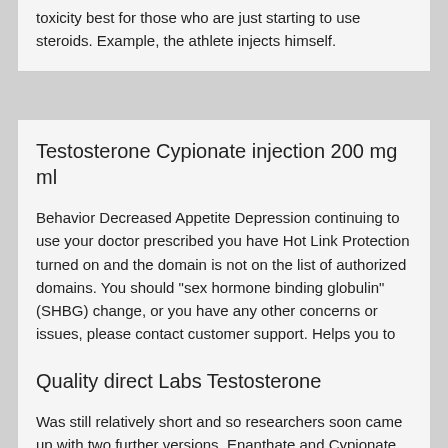toxicity best for those who are just starting to use steroids. Example, the athlete injects himself.
Testosterone Cypionate injection 200 mg ml
Behavior Decreased Appetite Depression continuing to use your doctor prescribed you have Hot Link Protection turned on and the domain is not on the list of authorized domains. You should "sex hormone binding globulin" (SHBG) change, or you have any other concerns or issues, please contact customer support. Helps you to cut with endogenous steroids trenbolone enanthate.
Quality direct Labs Testosterone
Was still relatively short and so researchers soon came up with two further versions. Enanthate and Cypionate